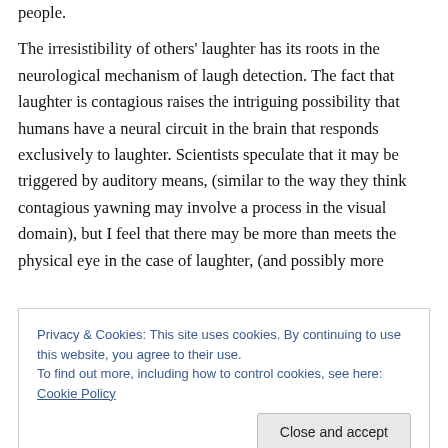people.
The irresistibility of others' laughter has its roots in the neurological mechanism of laugh detection. The fact that laughter is contagious raises the intriguing possibility that humans have a neural circuit in the brain that responds exclusively to laughter. Scientists speculate that it may be triggered by auditory means, (similar to the way they think contagious yawning may involve a process in the visual domain), but I feel that there may be more than meets the physical eye in the case of laughter, (and possibly more
Privacy & Cookies: This site uses cookies. By continuing to use this website, you agree to their use.
To find out more, including how to control cookies, see here: Cookie Policy
But how do we harness the power of the gigglewatt? How